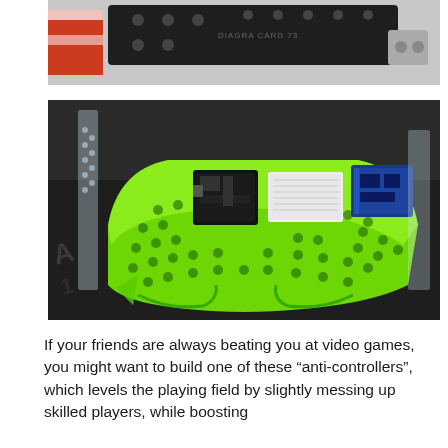[Figure (photo): Partial top-down photo showing a black metal bracket or frame component with holes, and silver metal hardware, with a red and white sticker partially visible on the left.]
[Figure (photo): Photo of a neon green transparent acrylic laser-cut game controller chassis/shell with circuit boards (a black microcontroller board, a white breadboard, and a blue module) mounted on top, resting on a dark surface. Clear acrylic side panels are visible.]
If your friends are always beating you at video games, you might want to build one of these “anti-controllers”, which levels the playing field by slightly messing up skilled players, while boosting the skills of novices.